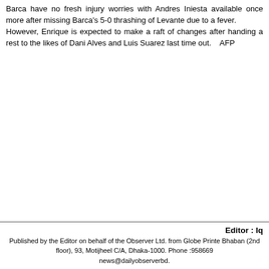Barca have no fresh injury worries with Andres Iniesta available once more after missing Barca's 5-0 thrashing of Levante due to a fever.
However, Enrique is expected to make a raft of changes after handing a rest to the likes of Dani Alves and Luis Suarez last time out.    AFP
Editor : Iq
Published by the Editor on behalf of the Observer Ltd. from Globe Printe Bhaban (2nd floor), 93, Motijheel C/A, Dhaka-1000. Phone :958669 news@dailyobserverbd.